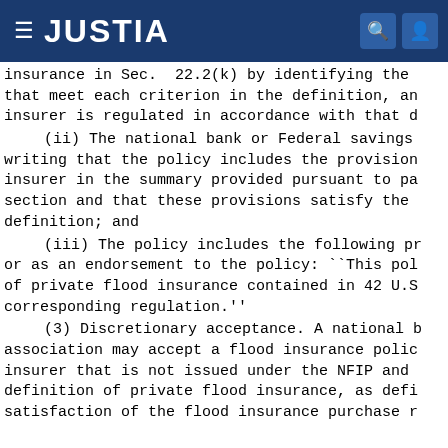JUSTIA
insurance in Sec. 22.2(k) by identifying the that meet each criterion in the definition, an insurer is regulated in accordance with that d
(ii) The national bank or Federal savings writing that the policy includes the provision insurer in the summary provided pursuant to pa section and that these provisions satisfy the definition; and
(iii) The policy includes the following pr or as an endorsement to the policy: ``This pol of private flood insurance contained in 42 U.S corresponding regulation.''
(3) Discretionary acceptance. A national b association may accept a flood insurance polic insurer that is not issued under the NFIP and definition of private flood insurance, as defi satisfaction of the flood insurance purchase r